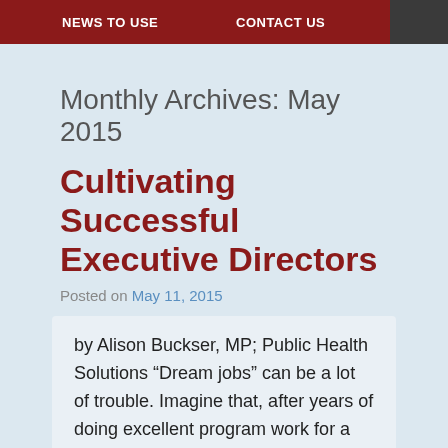NEWS TO USE    CONTACT US
Monthly Archives: May 2015
Cultivating Successful Executive Directors
Posted on May 11, 2015
by Alison Buckser, MP; Public Health Solutions “Dream jobs” can be a lot of trouble. Imagine that, after years of doing excellent program work for a nonprofit you deeply respect, the board gives you the executive director (ED) position. You are finally able to lead your organization in truly fulfilling its mission. But now it’s two years